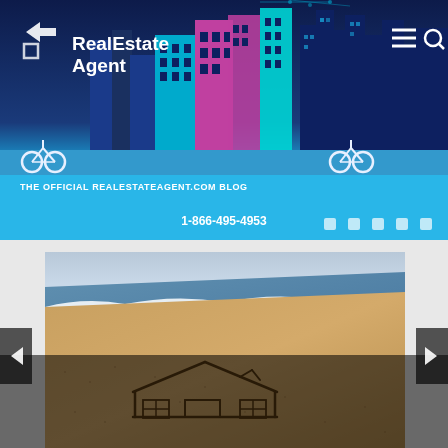[Figure (logo): RealEstateAgent.com logo with stylized arrow/person icon and city skyline illustration in the background header banner]
THE OFFICIAL REALESTATEAGENT.COM BLOG
1-866-495-4953
[Figure (photo): Beach scene with a house outline drawn in the sand, ocean waves in the background]